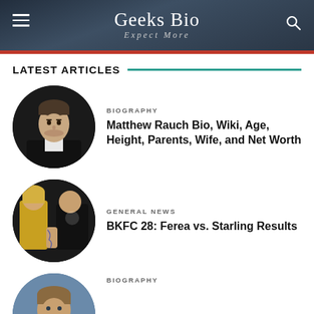Geeks Bio — Expect More
LATEST ARTICLES
[Figure (photo): Circular portrait photo of Matthew Rauch in dark suit]
Matthew Rauch Bio, Wiki, Age, Height, Parents, Wife, and Net Worth
BIOGRAPHY
[Figure (photo): Circular photo of two fighters at BKFC 28 event]
BKFC 28: Ferea vs. Starling Results
GENERAL NEWS
[Figure (photo): Circular portrait photo partially visible at bottom]
BIOGRAPHY